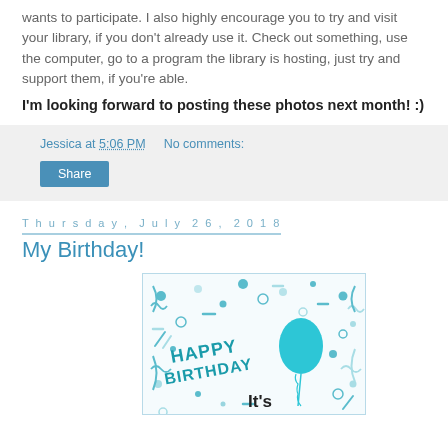wants to participate. I also highly encourage you to try and visit your library, if you don't already use it. Check out something, use the computer, go to a program the library is hosting, just try and support them, if you're able.
I'm looking forward to posting these photos next month! :)
Jessica at 5:06 PM   No comments:
Share
Thursday, July 26, 2018
My Birthday!
[Figure (illustration): Happy Birthday card illustration with teal balloon, confetti, and 'HAPPY BIRTHDAY' text in teal, with 'It's' text in black at bottom]